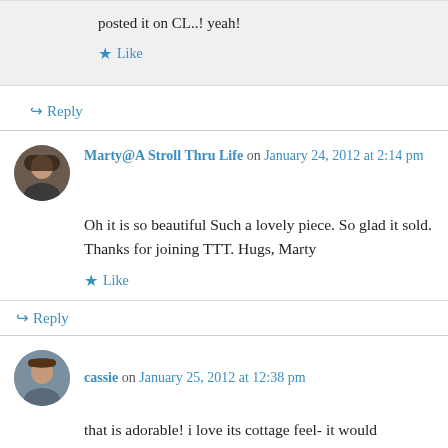posted it on CL..! yeah!
★ Like
↪ Reply
Marty@A Stroll Thru Life on January 24, 2012 at 2:14 pm
Oh it is so beautiful Such a lovely piece. So glad it sold. Thanks for joining TTT. Hugs, Marty
★ Like
↪ Reply
cassie on January 25, 2012 at 12:38 pm
that is adorable! i love its cottage feel- it would